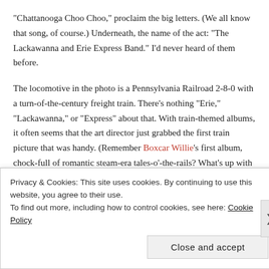“Chattanooga Choo Choo,” proclaim the big letters. (We all know that song, of course.) Underneath, the name of the act: “The Lackawanna and Erie Express Band.” I’d never heard of them before.
The locomotive in the photo is a Pennsylvania Railroad 2-8-0 with a turn-of-the-century freight train. There’s nothing “Erie,” “Lackawanna,” or “Express” about that. With train-themed albums, it often seems that the art director just grabbed the first train picture that was handy. (Remember Boxcar Willie’s first album, chock-full of romantic steam-era tales-o’-the-rails? What’s up with that Erie Lackawanna SD45 on the cover?)
Privacy & Cookies: This site uses cookies. By continuing to use this website, you agree to their use.
To find out more, including how to control cookies, see here: Cookie Policy